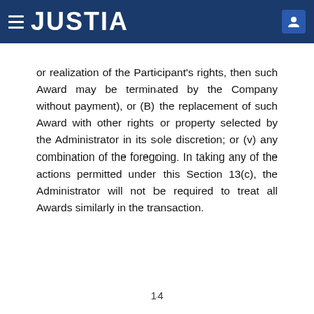JUSTIA
or realization of the Participant's rights, then such Award may be terminated by the Company without payment), or (B) the replacement of such Award with other rights or property selected by the Administrator in its sole discretion; or (v) any combination of the foregoing.  In taking any of the actions permitted under this Section 13(c), the Administrator will not be required to treat all Awards similarly in the transaction.
14